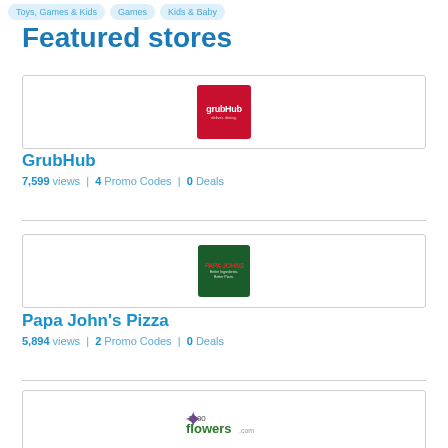Toys, Games & Kids | Games | Kids & Baby
Featured stores
[Figure (logo): GrubHub logo - red square with white grubhub text]
GrubHub
7,599 views | 4 Promo Codes | 0 Deals
[Figure (logo): Papa John's Pizza logo - green square with red Papa Johns text]
Papa John's Pizza
5,894 views | 2 Promo Codes | 0 Deals
[Figure (logo): 1800Flowers logo with purple flower icon and green Flowers text]
1800Flowers
6,247 views | 0 Promo Codes | 1 Deal